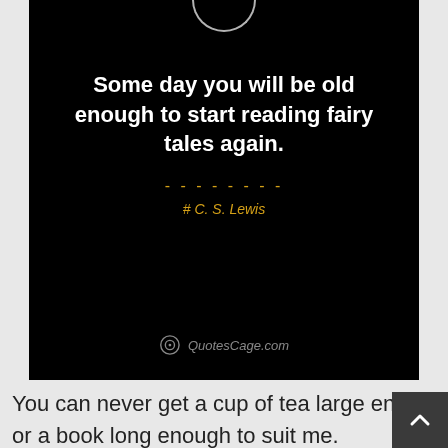[Figure (illustration): Black background quote card with white bold text reading 'Some day you will be old enough to start reading fairy tales again.' followed by a yellow dashed line and the author attribution '# C. S. Lewis', with a QuotesCage.com watermark at the bottom.]
You can never get a cup of tea large enough or a book long enough to suit me.